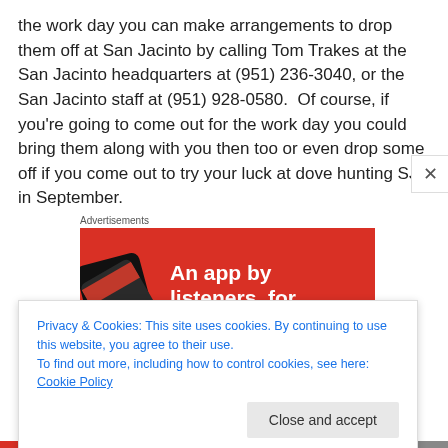the work day you can make arrangements to drop them off at San Jacinto by calling Tom Trakes at the San Jacinto headquarters at (951) 236-3040, or the San Jacinto staff at (951) 928-0580.  Of course, if you're going to come out for the work day you could bring them along with you then too or even drop some off if you come out to try your luck at dove hunting SJ in September.
Advertisements
[Figure (screenshot): Red advertisement banner showing a smartphone and the partial text 'An app by listeners, for']
Privacy & Cookies: This site uses cookies. By continuing to use this website, you agree to their use.
To find out more, including how to control cookies, see here: Cookie Policy
Close and accept